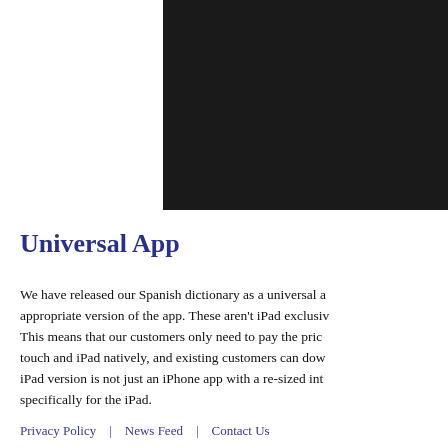[Figure (screenshot): Dark/black screenshot of an app interface, cropped to the upper right portion of the page]
Universal App
We have released our Spanish dictionary as a universal a... appropriate version of the app. These aren't iPad exclusiv... This means that our customers only need to pay the pric... touch and iPad natively, and existing customers can dow... iPad version is not just an iPhone app with a re-sized int... specifically for the iPad.
Privacy Policy   |   News Feed   |   Contact Us